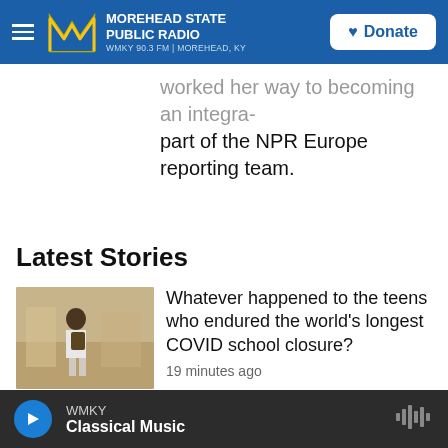Morehead State Public Radio — WMKY 90.3 FM | Morehead, KY — Donate
worked her way to becoming an integral part of the NPR Europe reporting team.
Latest Stories
Whatever happened to the teens who endured the world's longest COVID school closure?
19 minutes ago
St. Claire HealthCare Holiday Hours for Labor Day
WMKY — Classical Music